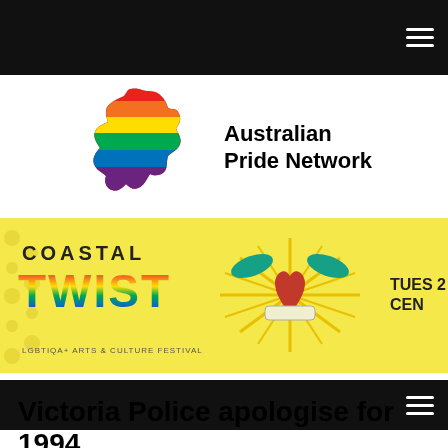[Figure (logo): Australian Pride Network logo: outline map of Australia filled with rainbow pride flag stripes, beside bold text 'Australian Pride Network']
[Figure (infographic): Coastal Twist LGBTIQA+ Arts & Culture Festival banner advertisement. Yellow background with polka dots, rainbow-colored 'COASTAL TWIST' lettering, a decorative heart/bird tattoo-style illustration in the center, and 'TUES 2... CEN...' text on the right side.]
Victoria Police apologise for 1994 Tasty Pride